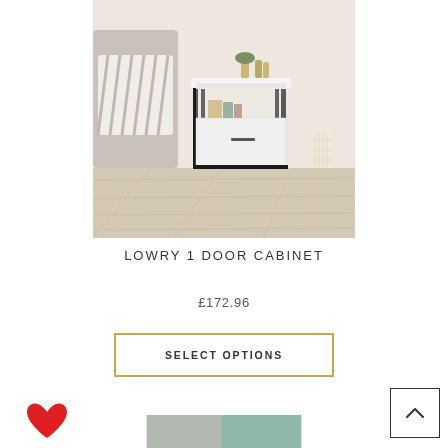[Figure (photo): White modern bedside cabinet (Lowry 1 Door Cabinet) with black metal frame legs, one drawer, open shelf, placed next to a bed with striped pillows in a light room with wooden floor]
LOWRY 1 DOOR CABINET
£172.96
SELECT OPTIONS
[Figure (illustration): Red heart icon (favourite/wishlist button)]
[Figure (photo): Partial view of another furniture product below, with green/teal and grey tones]